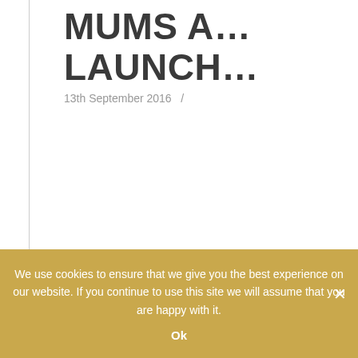MUMS A... LAUNCH...
13th September 2016  /
The 8th Sep...
We use cookies to ensure that we give you the best experience on our website. If you continue to use this site we will assume that you are happy with it.
Ok